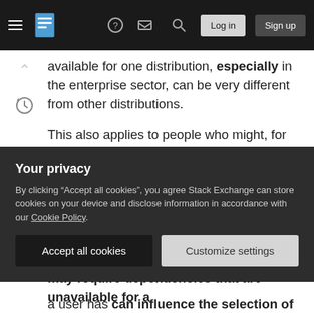Stack Exchange navigation bar with hamburger menu, logo, icons, Log in and Sign up buttons
available for one distribution, especially in the enterprise sector, can be very different from other distributions.
This also applies to people who might, for some reason, be using CentOS as a desktop distribution (This happens at offices I've been to, for example) and they want to replace Gnome 2. Unfortunately, running Gnome 3 on CentOS is nearly impossible.
Additionally, software that is recommended may require dependencies that are unavailable for a
Your privacy
By clicking “Accept all cookies”, you agree Stack Exchange can store cookies on your device and disclose information in accordance with our Cookie Policy.
Accept all cookies   Customize settings
a user has can influence the selection of